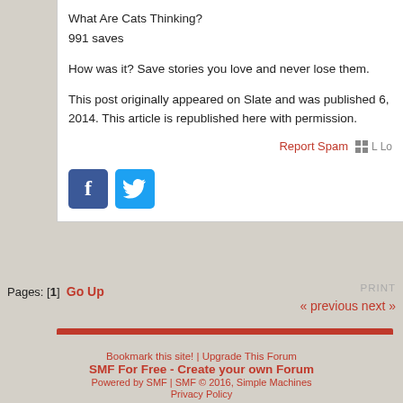What Are Cats Thinking?
991 saves
How was it? Save stories you love and never lose them.
This post originally appeared on Slate and was published 6, 2014. This article is republished here with permission.
Report Spam
[Figure (logo): Facebook and Twitter social share buttons]
Pages: [1]  Go Up
PRINT
« previous next »
Jump to:
=> Human Biology
go
Bookmark this site! | Upgrade This Forum
SMF For Free - Create your own Forum
Powered by SMF | SMF © 2016, Simple Machines
Privacy Policy